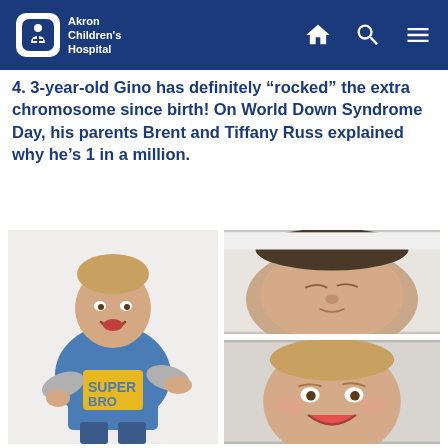Akron Children's Hospital
4. 3-year-old Gino has definitely “rocked” the extra chromosome since birth! On World Down Syndrome Day, his parents Brent and Tiffany Russ explained why he’s 1 in a million.
[Figure (photo): A smiling toddler boy wearing a blue and yellow 'Super Bro' long-sleeve shirt and jeans, posing with arms outstretched on a white background]
[Figure (photo): Close-up of a newborn baby sleeping, with fine dark hair, on a white background]
[Figure (photo): A smiling baby lying down, looking up at the camera]